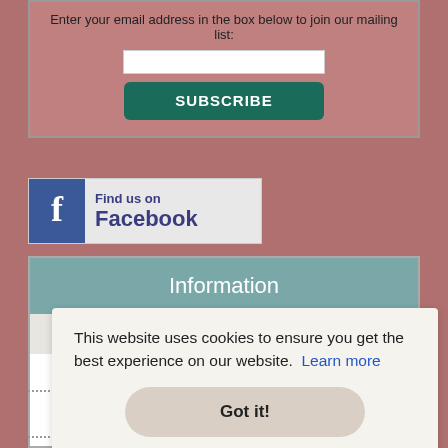Enter your email address in the box below to join our mailing list:
SUBSCRIBE
[Figure (logo): Find us on Facebook logo button with blue Facebook icon and text]
Information
Products
This website uses cookies to ensure you get the best experience on our website.  Learn more
Got it!
Crafty Challenges & Give-Aways